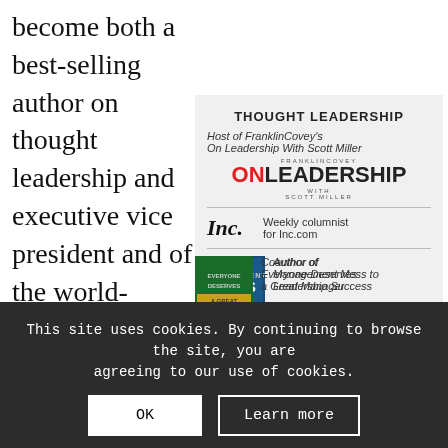become both a best-selling author on thought leadership and executive vice president and of the world-leading consultancy and training firm,
[Figure (infographic): Thought Leadership sidebar box with FranklinCovey ON LEADERSHIP with Scott Miller logo, Inc. weekly columnist badge, and Management Mess to Leadership Success book cover]
This site uses cookies. By continuing to browse the site, you are agreeing to our use of cookies.
OK  Learn more